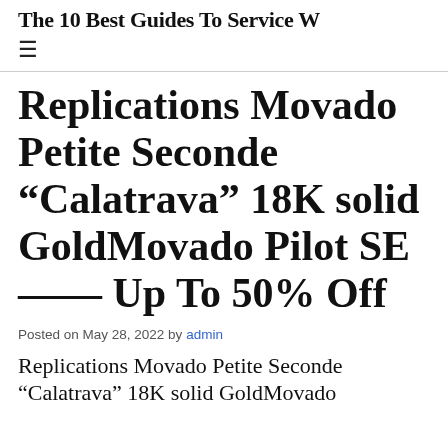The 10 Best Guides To Service W…
Replications Movado Petite Seconde “Calatrava” 18K solid GoldMovado Pilot SE —— Up To 50% Off
Posted on May 28, 2022 by admin
Replications Movado Petite Seconde “Calatrava” 18K solid GoldMovado